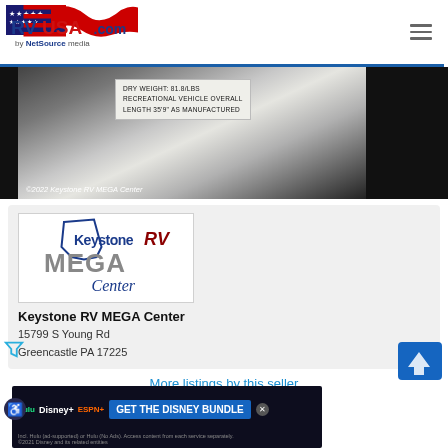[Figure (logo): RVUSA.com by NetSource media logo with American flag design]
[Figure (photo): Close-up photo of RV sticker showing DRY WEIGHT: 81.8/LBS, RECREATIONAL VEHICLE OVERALL LENGTH 35'9" AS MANUFACTURED. Copyright 2022 Keystone RV MEGA Center watermark at bottom.]
[Figure (logo): Keystone RV MEGA Center dealer logo]
Keystone RV MEGA Center
15799 S Young Rd
Greencastle PA 17225
More listings by this seller
[Figure (screenshot): Disney Bundle advertisement banner with Hulu, Disney+, ESPN+ logos and GET THE DISNEY BUNDLE call to action]